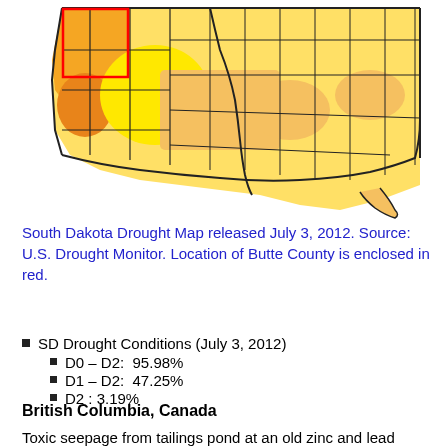[Figure (map): South Dakota Drought Map showing counties colored in yellow, light orange, and orange indicating various drought conditions. Western counties appear more orange/drought-affected. County boundaries are outlined in black.]
South Dakota Drought Map released July 3, 2012. Source: U.S. Drought Monitor. Location of Butte County is enclosed in red.
SD Drought Conditions (July 3, 2012)
D0 – D2:  95.98%
D1 – D2:  47.25%
D2 : 3.19%
British Columbia, Canada
Toxic seepage from tailings pond at an old zinc and lead